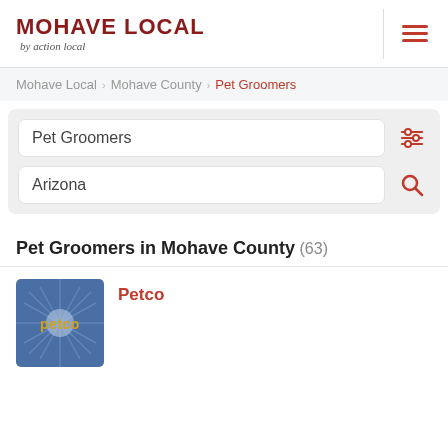MOHAVE LOCAL by action local
Mohave Local > Mohave County > Pet Groomers
Pet Groomers
Arizona
Pet Groomers in Mohave County (63)
[Figure (logo): Petco logo on blue starburst background]
Petco